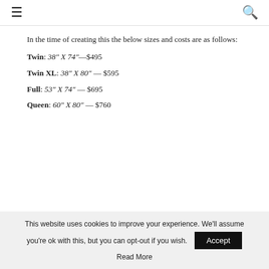≡  🔍
In the time of creating this the below sizes and costs are as follows:
Twin: 38″ X 74″ — $495
Twin XL: 38″ X 80″ — $595
Full: 53″ X 74″ — $695
Queen: 60″ X 80″ — $760
This website uses cookies to improve your experience. We'll assume you're ok with this, but you can opt-out if you wish. Accept
Read More